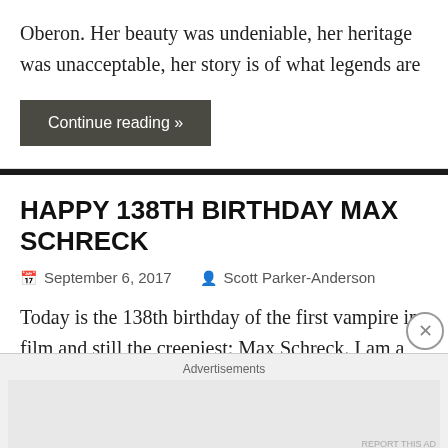Oberon. Her beauty was undeniable, her heritage was unacceptable, her story is of what legends are
Continue reading »
HAPPY 138TH BIRTHDAY MAX SCHRECK
September 6, 2017   Scott Parker-Anderson
Today is the 138th birthday of the first vampire in film and still the creepiest:  Max Schreck.  I am a huge fan when myth becomes legend
Advertisements